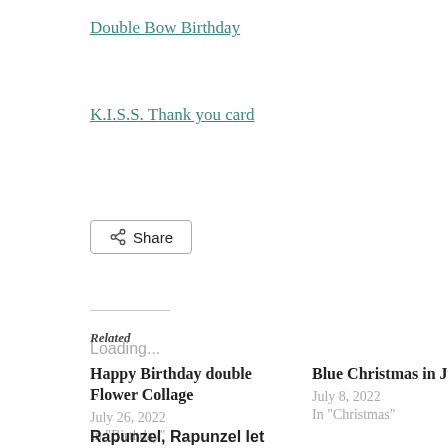Double Bow Birthday
K.I.S.S. Thank you card
Share
Loading...
Related
Happy Birthday double Flower Collage
July 26, 2022
In "Birthday"
Blue Christmas in July
July 8, 2022
In "Christmas"
Rapunzel, Rapunzel let